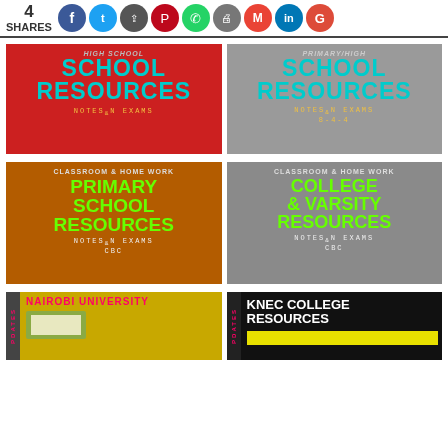[Figure (infographic): Social share bar with 4 SHARES count and social media icon buttons: Facebook, Twitter, Share, Pinterest, WhatsApp, Print, Gmail, LinkedIn, Google+]
[Figure (infographic): Red card: HIGH SCHOOL RESOURCES - NOTES & EXAMS]
[Figure (infographic): Red card: PRIMARY/HIGH SCHOOL RESOURCES - NOTES & EXAMS 8-4-4]
[Figure (infographic): Brown card: CLASSROOM & HOME WORK - PRIMARY SCHOOL RESOURCES - NOTES & EXAMS CBC]
[Figure (infographic): Gray card: CLASSROOM & HOME WORK - COLLEGE & VARSITY RESOURCES - NOTES & EXAMS CBC]
[Figure (infographic): NAIROBI UNIVERSITY card with PDATES sidebar]
[Figure (infographic): KNEC COLLEGE RESOURCES card with PDATES sidebar and yellow graphic]